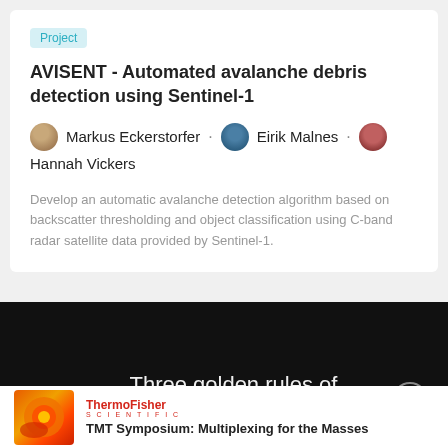Project
AVISENT - Automated avalanche debris detection using Sentinel-1
Markus Eckerstorfer · Eirik Malnes · Hannah Vickers
Develop an automatic avalanche detection algorithm based on backscatter thresholding and object classification using C-band radar satellite data provided by Sentinel-1.
[Figure (infographic): Dark overlay advertisement banner showing '[J]' icon in red and text 'Three golden rules of successful STEM marketing' with a close button]
[Figure (infographic): Bottom advertisement card showing ThermoFisher Scientific logo and 'TMT Symposium: Multiplexing for the Masses' text with a decorative orange/red scientific image]